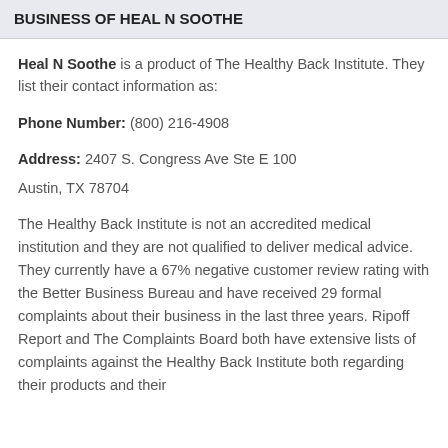BUSINESS OF HEAL N SOOTHE
Heal N Soothe is a product of The Healthy Back Institute. They list their contact information as:
Phone Number: (800) 216-4908
Address: 2407 S. Congress Ave Ste E 100
Austin, TX 78704
The Healthy Back Institute is not an accredited medical institution and they are not qualified to deliver medical advice. They currently have a 67% negative customer review rating with the Better Business Bureau and have received 29 formal complaints about their business in the last three years. Ripoff Report and The Complaints Board both have extensive lists of complaints against the Healthy Back Institute both regarding their products and their